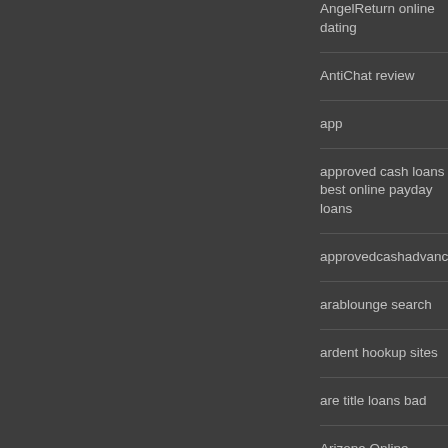AngelReturn online dating
AntiChat review
app
approved cash loans best online payday loans
approvedcashadvance
arablounge search
ardent hookup sites
are title loans bad
Arizona Online